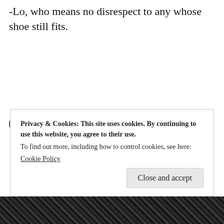-Lo, who means no disrespect to any whose shoe still fits.
Lo_and_Behold / October 4, 2012 / Blab / agnostic, belief, Carey, definition, faith, fantasy, Jemisin, journey, McKinley, religion, shoes, Tolkien / 1 Comment
Privacy & Cookies: This site uses cookies. By continuing to use this website, you agree to their use. To find out more, including how to control cookies, see here: Cookie Policy
[Figure (photo): Black and white photo strip at the bottom of the page]